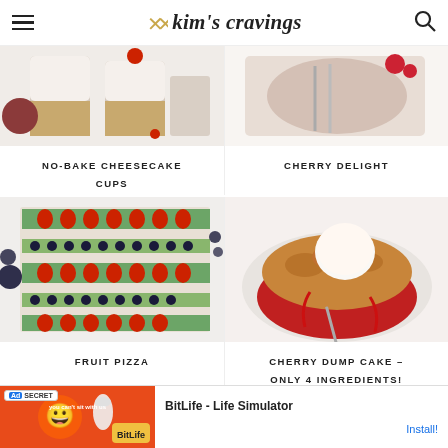kim's cravings
[Figure (photo): No-Bake Cheesecake Cups - dessert cups with graham cracker layer and cream cheese filling, with raspberries and rose]
NO-BAKE CHEESECAKE CUPS
[Figure (photo): Cherry Delight - overhead shot of cherry dessert with fork and spoon]
CHERRY DELIGHT
[Figure (photo): Fruit Pizza - sheet pan with rows of strawberries, blueberries, and kiwi arranged in decorative pattern]
FRUIT PIZZA
[Figure (photo): Cherry Dump Cake - plate with cherry crumble and scoop of vanilla ice cream]
CHERRY DUMP CAKE – ONLY 4 INGREDIENTS!
[Figure (screenshot): BitLife - Life Simulator advertisement banner with orange background and app icon]